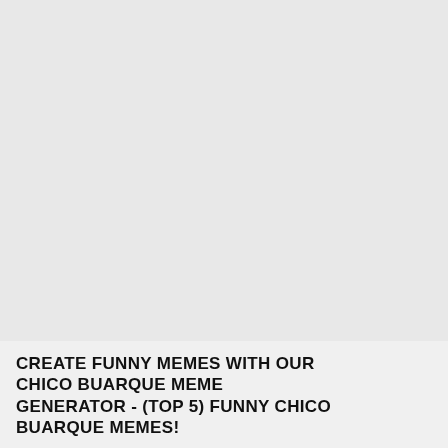[Figure (other): Large light gray blank area filling most of the upper portion of the page]
[Figure (logo): reCAPTCHA badge with blue circular arrow icon and 'Privacy - Terms' text on a white rounded rectangle card]
CREATE FUNNY MEMES WITH OUR CHICO BUARQUE MEME GENERATOR - (TOP 5) FUNNY CHICO BUARQUE MEMES!